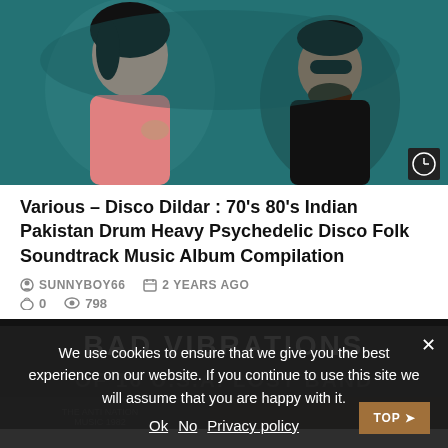[Figure (photo): Teal-tinted artistic photo of a woman in pink and a man in black with sunglasses, crowd in background. Small clock icon in bottom-right corner.]
Various – Disco Dildar : 70's 80's Indian Pakistan Drum Heavy Psychedelic Disco Folk Soundtrack Music Album Compilation
SUNNYBOY66   2 YEARS AGO
0   798
[Figure (photo): Dark album cover image showing text: BAD VIBRATIONS OF 16 U.S.A. LOST BAND]
We use cookies to ensure that we give you the best experience on our website. If you continue to use this site we will assume that you are happy with it.
Ok  No  Privacy policy